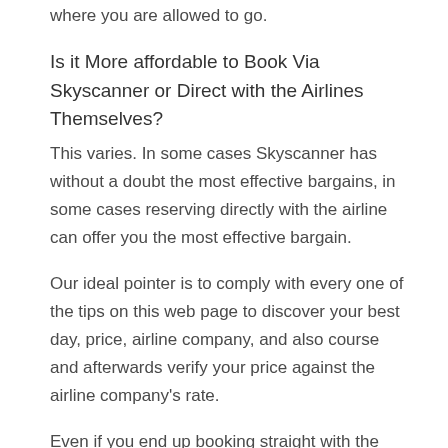where you are allowed to go.
Is it More affordable to Book Via Skyscanner or Direct with the Airlines Themselves?
This varies. In some cases Skyscanner has without a doubt the most effective bargains, in some cases reserving directly with the airline can offer you the most effective bargain.
Our ideal pointer is to comply with every one of the tips on this web page to discover your best day, price, airline company, and also course and afterwards verify your price against the airline company's rate.
Even if you end up booking straight with the airline, Skyscanner can still be a great research tool!
Utilizing Skyscanner to Find the very best Bargain on Cars And Truck Work With or Rental